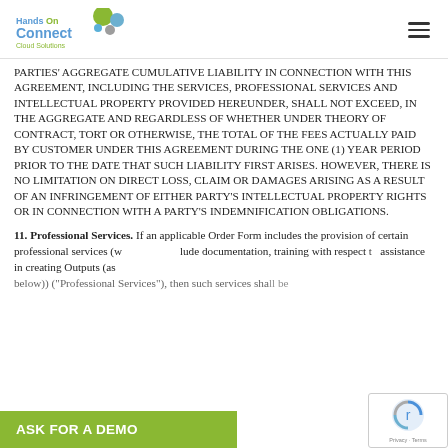HandsOn Connect Cloud Solutions — navigation header with logo and hamburger menu
PARTIES' AGGREGATE CUMULATIVE LIABILITY IN CONNECTION WITH THIS AGREEMENT, INCLUDING THE SERVICES, PROFESSIONAL SERVICES AND INTELLECTUAL PROPERTY PROVIDED HEREUNDER, SHALL NOT EXCEED, IN THE AGGREGATE AND REGARDLESS OF WHETHER UNDER THEORY OF CONTRACT, TORT OR OTHERWISE, THE TOTAL OF THE FEES ACTUALLY PAID BY CUSTOMER UNDER THIS AGREEMENT DURING THE ONE (1) YEAR PERIOD PRIOR TO THE DATE THAT SUCH LIABILITY FIRST ARISES. HOWEVER, THERE IS NO LIMITATION ON DIRECT LOSS, CLAIM OR DAMAGES ARISING AS A RESULT OF AN INFRINGEMENT OF EITHER PARTY'S INTELLECTUAL PROPERTY RIGHTS OR IN CONNECTION WITH A PARTY'S INDEMNIFICATION OBLIGATIONS.
11. Professional Services. If an applicable Order Form includes the provision of certain professional services (which may include documentation, training with respect to assistance in creating Outputs (as defined below)) ("Professional Services"), then such services shall be...